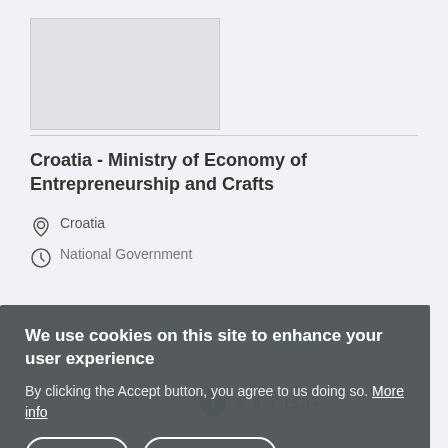[Figure (photo): Partial image in the top-left area of the page, showing a gray placeholder image box]
Croatia - Ministry of Economy of Entrepreneurship and Crafts
Croatia
National Government
We use cookies on this site to enhance your user experience
By clicking the Accept button, you agree to us doing so. More info
ACCEPT
NO, THANKS